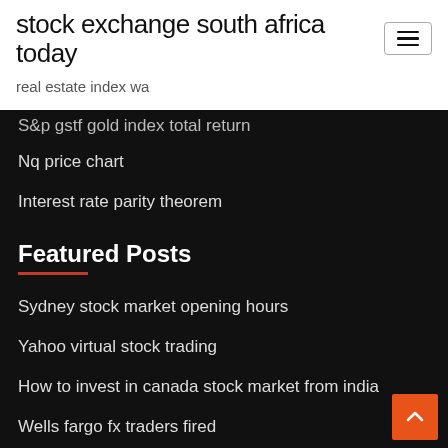stock exchange south africa today
real estate index wa
S&p gstf gold index total return
Nq price chart
Interest rate parity theorem
Featured Posts
Sydney stock market opening hours
Yahoo virtual stock trading
How to invest in canada stock market from india
Wells fargo fx traders fired
Arms index example